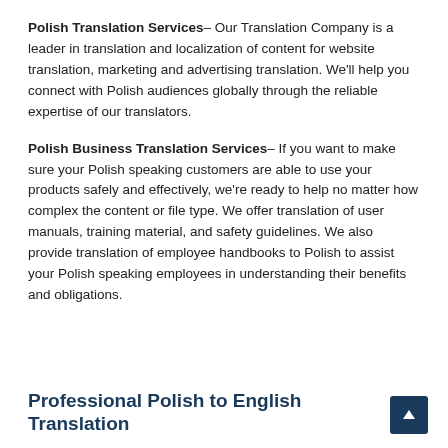Polish Translation Services– Our Translation Company is a leader in translation and localization of content for website translation, marketing and advertising translation. We'll help you connect with Polish audiences globally through the reliable expertise of our translators.
Polish Business Translation Services– If you want to make sure your Polish speaking customers are able to use your products safely and effectively, we're ready to help no matter how complex the content or file type. We offer translation of user manuals, training material, and safety guidelines. We also provide translation of employee handbooks to Polish to assist your Polish speaking employees in understanding their benefits and obligations.
Professional Polish to English Translation